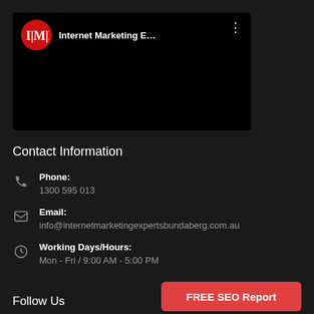[Figure (screenshot): YouTube channel card for Internet Marketing E... with red circular IME logo on black background, with three-dot menu icon]
Contact Information
Phone:
1300 595 013
Email:
info@internetmarketingexpertsbundaberg.com.au
Working Days/Hours:
Mon - Fri / 9:00 AM - 5:00 PM
Follow Us
FREE SEO Report